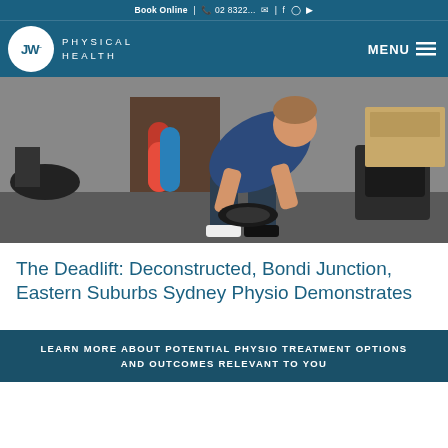Book Online | 02 8322... | [email] | [facebook] [instagram] [youtube]
[Figure (logo): JW Physical Health logo with circular JW emblem and navigation menu button]
[Figure (photo): Physiotherapist performing a deadlift demonstration in a clinic room with foam rollers and gym equipment in the background]
The Deadlift: Deconstructed, Bondi Junction, Eastern Suburbs Sydney Physio Demonstrates
LEARN MORE ABOUT POTENTIAL PHYSIO TREATMENT OPTIONS AND OUTCOMES RELEVANT TO YOU